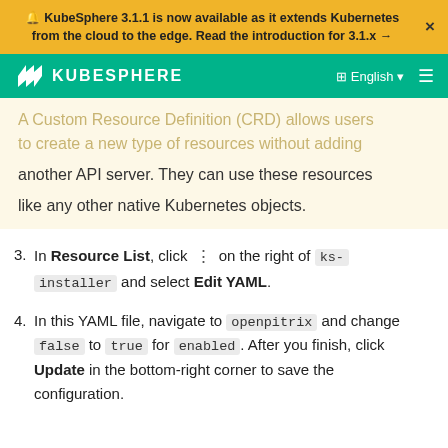🔔 KubeSphere 3.1.1 is now available as it extends Kubernetes from the cloud to the edge. Read the introduction for 3.1.x →
[Figure (logo): KubeSphere logo and navigation bar with English language selector and menu icon]
A Custom Resource Definition (CRD) allows users to create a new type of resources without adding another API server. They can use these resources like any other native Kubernetes objects.
3. In Resource List, click ⋮ on the right of ks-installer and select Edit YAML.
4. In this YAML file, navigate to openpitrix and change false to true for enabled. After you finish, click Update in the bottom-right corner to save the configuration.